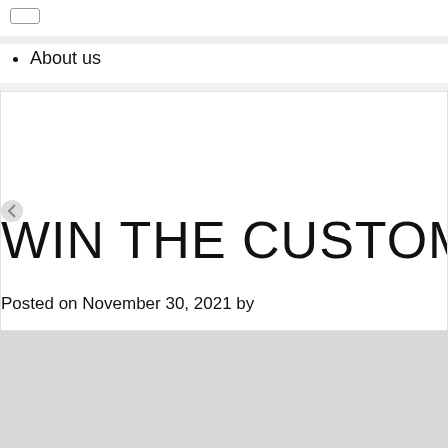About us
WIN THE CUSTOMER
Posted on November 30, 2021 by